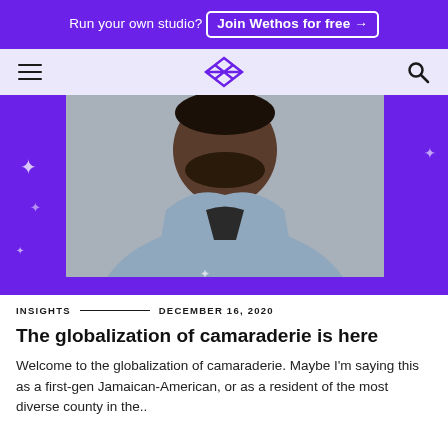Run your own studio? Join Wethos for free →
[Figure (logo): Wethos navigation bar with hamburger menu, Wethos logo (stylized W diamond shape), and search icon]
[Figure (photo): Hero image of a smiling Black man wearing a light blue denim shirt over a black t-shirt, photographed from chest up against a gray background, framed by a purple border with sparkle decorations]
INSIGHTS — DECEMBER 16, 2020
The globalization of camaraderie is here
Welcome to the globalization of camaraderie. Maybe I'm saying this as a first-gen Jamaican-American, or as a resident of the most diverse county in the..